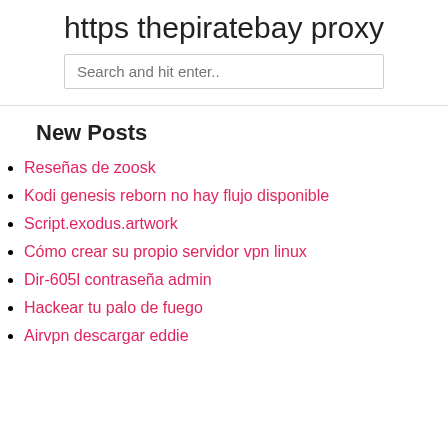https thepiratebay proxy
Reseñas de zoosk
Kodi genesis reborn no hay flujo disponible
Script.exodus.artwork
Cómo crear su propio servidor vpn linux
Dir-605l contraseña admin
Hackear tu palo de fuego
Airvpn descargar eddie